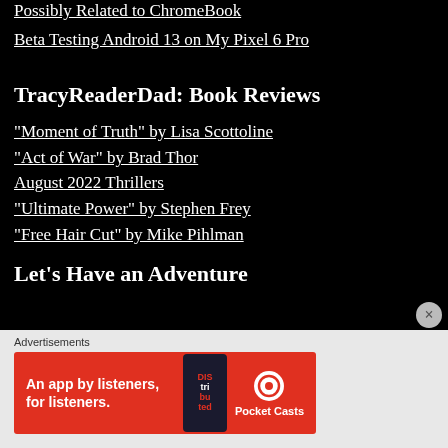Possibly Related to ChromeBook
Beta Testing Android 13 on My Pixel 6 Pro
TracyReaderDad: Book Reviews
“Moment of Truth” by Lisa Scottoline
“Act of War” by Brad Thor
August 2022 Thrillers
“Ultimate Power” by Stephen Frey
“Free Hair Cut” by Mike Pihlman
Let’s Have an Adventure
Advertisements
[Figure (infographic): Pocket Casts advertisement banner with red background showing phone graphic and text 'An app by listeners, for listeners.']